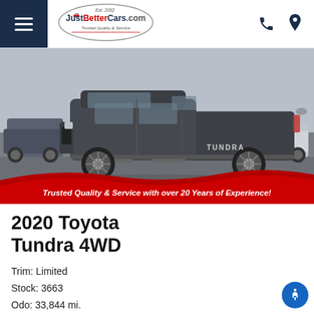[Figure (logo): JustBetterCars.com logo in oval with Est. 2002 and Trusted Quality & Service tagline]
[Figure (photo): Side profile photo of a 2020 Toyota Tundra 4WD pickup truck in dark gray, parked in a dealership lot with other vehicles visible in the background. Red wave banner at bottom reads: Trusted Quality & Service with over 20 Years of Experience!]
2020 Toyota Tundra 4WD
Trim: Limited
Stock: 3663
Odo: 33,844 mi.
VIN: 5TFHY5F1XLX898787
$47,299